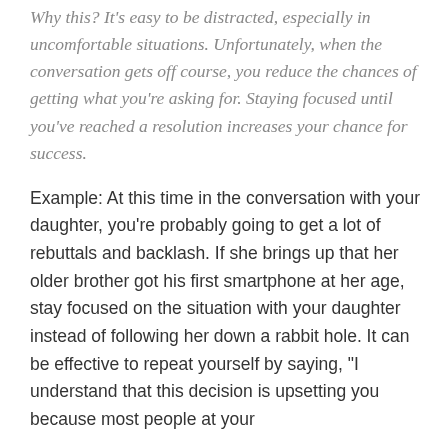Why this? It's easy to be distracted, especially in uncomfortable situations. Unfortunately, when the conversation gets off course, you reduce the chances of getting what you're asking for. Staying focused until you've reached a resolution increases your chance for success.
Example: At this time in the conversation with your daughter, you're probably going to get a lot of rebuttals and backlash. If she brings up that her older brother got his first smartphone at her age, stay focused on the situation with your daughter instead of following her down a rabbit hole. It can be effective to repeat yourself by saying, "I understand that this decision is upsetting you because most people at your